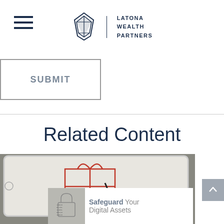Latona Wealth Partners
SUBMIT
Related Content
[Figure (photo): A hand drawing a gift box with a red ribbon on a tablet screen, with a smaller overlay card showing a padlock icon made of binary digits and text reading 'Safeguard Your Digital Assets']